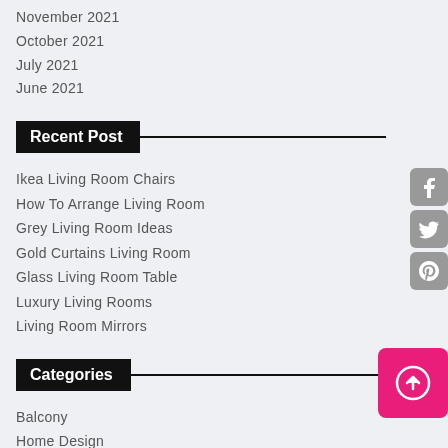November 2021
October 2021
July 2021
June 2021
Recent Post
Ikea Living Room Chairs
How To Arrange Living Room
Grey Living Room Ideas
Gold Curtains Living Room
Glass Living Room Table
Luxury Living Rooms
Living Room Mirrors
Categories
Balcony
Home Design